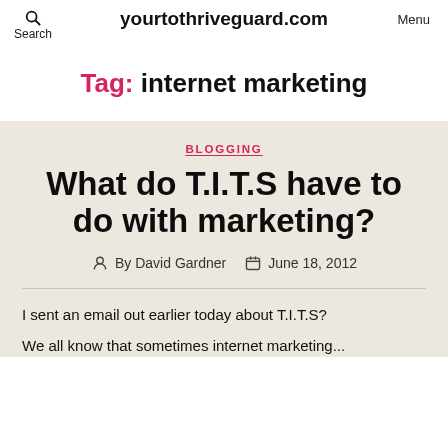Search  yourtothriveguard.com  Menu
Tag: internet marketing
BLOGGING
What do T.I.T.S have to do with marketing?
By David Gardner  June 18, 2012
I sent an email out earlier today about T.I.T.S?
We all know that sometimes internet marketing...